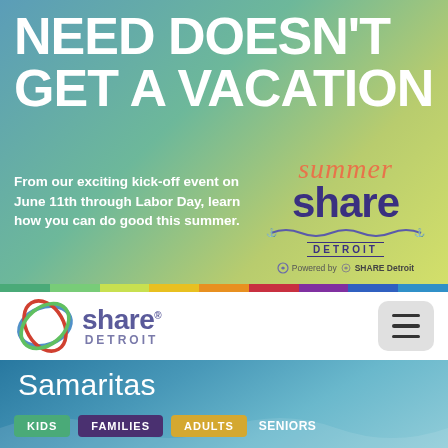NEED DOESN'T GET A VACATION
From our exciting kick-off event on June 11th through Labor Day, learn how you can do good this summer.
[Figure (logo): Summer Share Detroit logo with stylized text and wave decoration, Powered by SHARE Detroit]
[Figure (logo): SHARE Detroit logo with circular swirl icon]
[Figure (illustration): Hamburger/menu icon button]
Samaritas
KIDS
FAMILIES
ADULTS
SENIORS